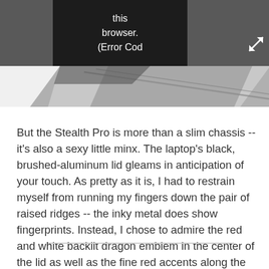[Figure (screenshot): Top navigation bar (dark gray) with a video player error box showing 'this browser. (Error Cod' in white text on black background, and an expand/fullscreen icon in the top-right corner]
[Figure (photo): Partial photo showing a dark metallic surface with diagonal lines, likely the laptop chassis]
But the Stealth Pro is more than a slim chassis -- it's also a sexy little minx. The laptop's black, brushed-aluminum lid gleams in anticipation of your touch. As pretty as it is, I had to restrain myself from running my fingers down the pair of raised ridges -- the inky metal does show fingerprints. Instead, I chose to admire the red and white backlit dragon emblem in the center of the lid as well as the fine red accents along the rear vents.